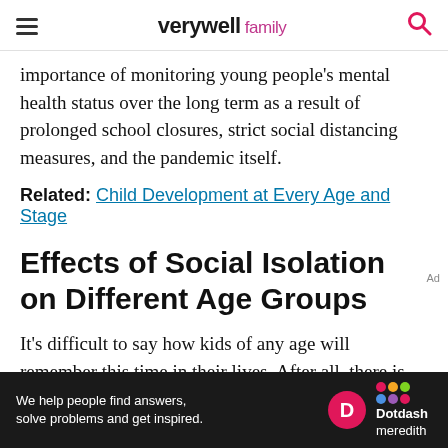verywell family
importance of monitoring young people's mental health status over the long term as a result of prolonged school closures, strict social distancing measures, and the pandemic itself.
Related: Child Development at Every Age and Stage
Effects of Social Isolation on Different Age Groups
It's difficult to say how kids of any age will remember this time in their lives. After all, there is no precedent for this. As parents, educators, and
[Figure (other): Dotdash Meredith advertisement banner: 'We help people find answers, solve problems and get inspired.']